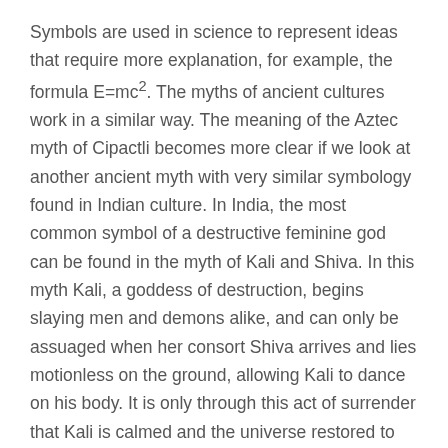Symbols are used in science to represent ideas that require more explanation, for example, the formula E=mc². The myths of ancient cultures work in a similar way. The meaning of the Aztec myth of Cipactli becomes more clear if we look at another ancient myth with very similar symbology found in Indian culture. In India, the most common symbol of a destructive feminine god can be found in the myth of Kali and Shiva. In this myth Kali, a goddess of destruction, begins slaying men and demons alike, and can only be assuaged when her consort Shiva arrives and lies motionless on the ground, allowing Kali to dance on his body. It is only through this act of surrender that Kali is calmed and the universe restored to balance.